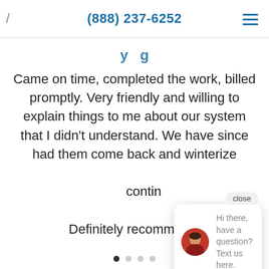(888) 237-6252
Came on time, completed the work, billed promptly. Very friendly and willing to explain things to me about our system that I didn't understand. We have since had them come back and winterize … contin… Definitely recommend.
[Figure (screenshot): Chat widget overlay with avatar photo of a woman and text 'Hi there, have a question? Text us here.' with a close button above.]